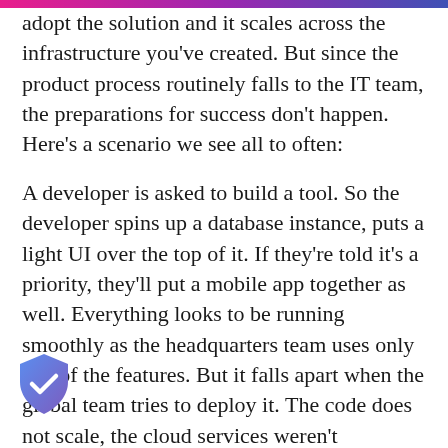adopt the solution and it scales across the infrastructure you've created. But since the product process routinely falls to the IT team, the preparations for success don't happen. Here's a scenario we see all to often:
A developer is asked to build a tool. So the developer spins up a database instance, puts a light UI over the top of it. If they're told it's a priority, they'll put a mobile app together as well. Everything looks to be running smoothly as the headquarters team uses only one of the features. But it falls apart when the global team tries to deploy it. The code does not scale, the cloud services weren't configured to support offline functionality and fixing the code means a total re-write so the product is shelved and
[Figure (illustration): Shield icon with a checkmark, gradient blue/purple fill, positioned in bottom-left corner]